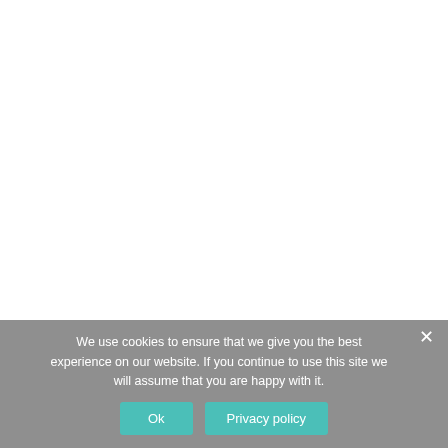We use cookies to ensure that we give you the best experience on our website. If you continue to use this site we will assume that you are happy with it.
Ok
Privacy policy